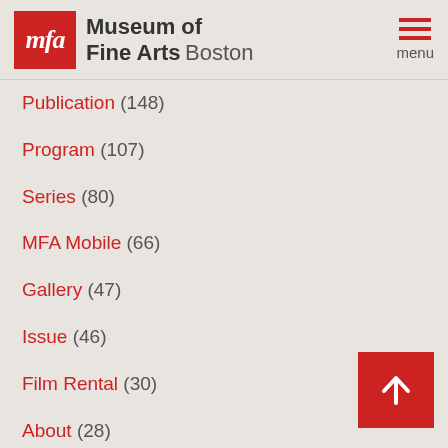Museum of Fine Arts Boston
Publication (148)
Program (107)
Series (80)
MFA Mobile (66)
Gallery (47)
Issue (46)
Film Rental (30)
About (28)
Page (28)
Staff Position (27)
Press (11)